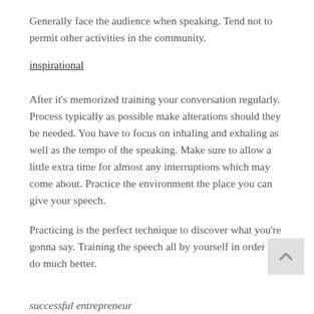Generally face the audience when speaking. Tend not to permit other activities in the community.
inspirational
After it's memorized training your conversation regularly. Process typically as possible make alterations should they be needed. You have to focus on inhaling and exhaling as well as the tempo of the speaking. Make sure to allow a little extra time for almost any interruptions which may come about. Practice the environment the place you can give your speech.
Practicing is the perfect technique to discover what you're gonna say. Training the speech all by yourself in order to do much better.
successful entrepreneur